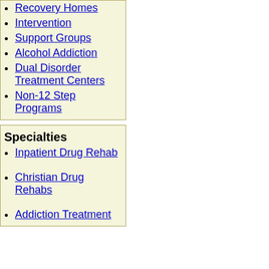Recovery Homes
Intervention
Support Groups
Alcohol Addiction
Dual Disorder Treatment Centers
Non-12 Step Programs
Specialties
Inpatient Drug Rehab
Christian Drug Rehabs
Addiction Treatment